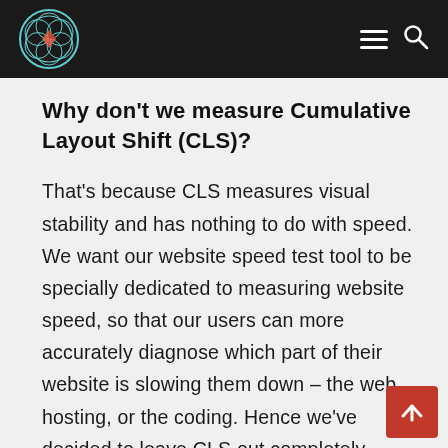Navigation header with logo, hamburger menu, and search icon
Why don't we measure Cumulative Layout Shift (CLS)?
That's because CLS measures visual stability and has nothing to do with speed. We want our website speed test tool to be specially dedicated to measuring website speed, so that our users can more accurately diagnose which part of their website is slowing them down – the web hosting, or the coding. Hence we've decided to leave CLS out completely.